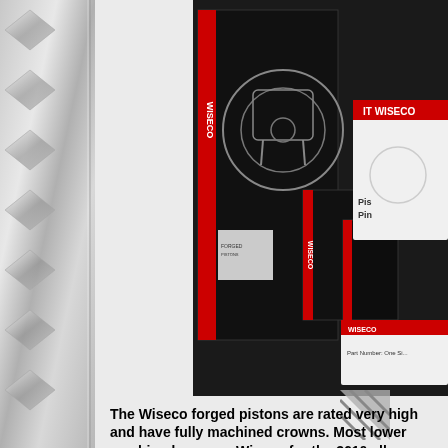[Figure (photo): Photo of Wiseco forged piston product boxes and packaging, including large black box with piston diagram outline and smaller black boxes with red Wiseco branding, along with white packaging labeled 'Pistons & Pins' and 'WISECO']
The Wiseco forged pistons are rated very high and have fully machined crowns. Most lower machined crowns. Wiseco for the 3610 all...